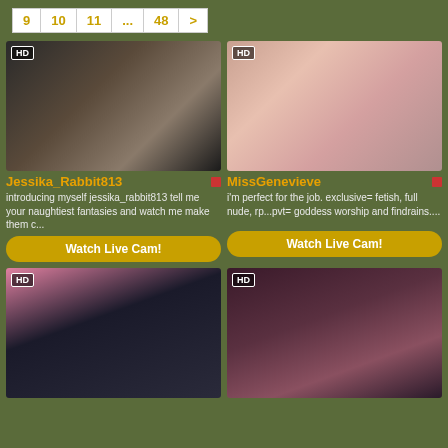9  10  11  ...  48  >
[Figure (photo): HD thumbnail of Jessika_Rabbit813]
Jessika_Rabbit813
introducing myself jessika_rabbit813 tell me your naughtiest fantasies and watch me make them c...
Watch Live Cam!
[Figure (photo): HD thumbnail of MissGenevieve]
MissGenevieve
i'm perfect for the job. exclusive= fetish, full nude, rp...pvt= goddess worship and findrains....
Watch Live Cam!
[Figure (photo): HD thumbnail of performer in black lace]
[Figure (photo): HD thumbnail of performer with pink toy]